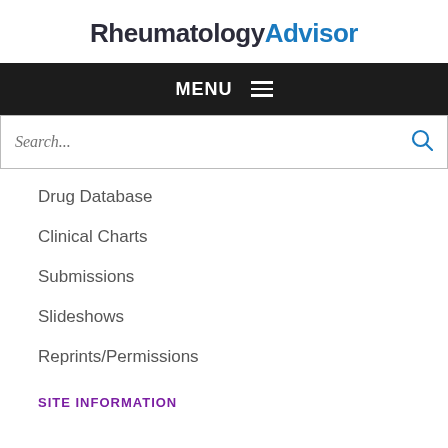RheumatologyAdvisor
MENU
Search...
Drug Database
Clinical Charts
Submissions
Slideshows
Reprints/Permissions
SITE INFORMATION